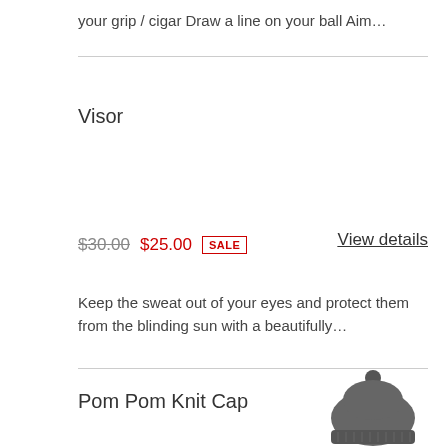your grip / cigar Draw a line on your ball Aim…
Visor
$30.00  $25.00  SALE
View details
Keep the sweat out of your eyes and protect them from the blinding sun with a beautifully…
Pom Pom Knit Cap
[Figure (photo): A dark grey pom pom knit cap]